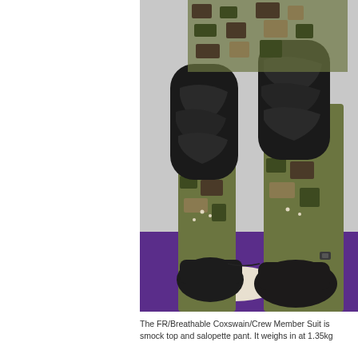[Figure (photo): Close-up photograph of a mannequin or display showing a military/tactical suit with camouflage patterned lower legs and dark black padded upper leg/knee sections. The figure stands on a circular white base on a purple mat, against a light grey background.]
The FR/Breathable Coxswain/Crew Member Suit is smock top and salopette pant. It weighs in at 1.35kg